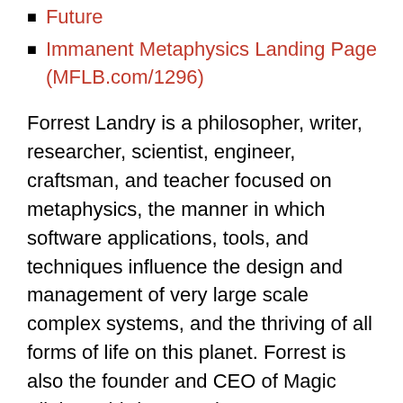Future
Immanent Metaphysics Landing Page (MFLB.com/1296)
Forrest Landry is a philosopher, writer, researcher, scientist, engineer, craftsman, and teacher focused on metaphysics, the manner in which software applications, tools, and techniques influence the design and management of very large scale complex systems, and the thriving of all forms of life on this planet. Forrest is also the founder and CEO of Magic Flight, a third-generation master woodworker who found that he had a unique set of skills in large scale software systems design. Which led him to work in the production of several federal classified and unclassified systems, including various FBI investigative projects, TSC, IDW, DARPA, the